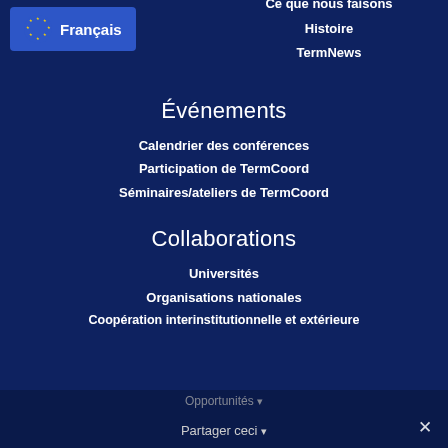Français
Ce que nous faisons
Histoire
TermNews
Événements
Calendrier des conférences
Participation de TermCoord
Séminaires/ateliers de TermCoord
Collaborations
Universités
Organisations nationales
Coopération interinstitutionnelle et extérieure
Opportunités | Partager ceci